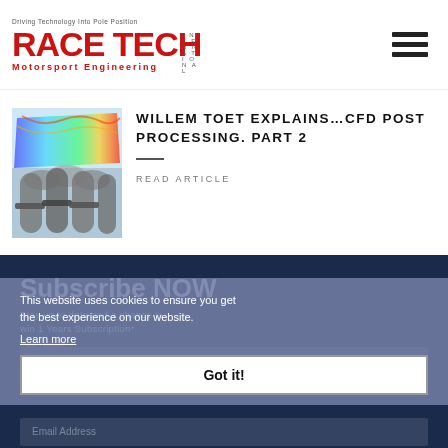RACE TECH International Motorsport Engineering
WILLEM TOET EXPLAINS…CFD POST PROCESSING. PART 2
READ ARTICLE
[Figure (photo): CFD simulation image showing aerodynamic flow visualization over racing car components with heat map coloring]
Subscribe NOW
Stay up to date and a chance to win 1 Years Subscription*
This website uses cookies to ensure you get the best experience on our website.
Learn more
Got it!
Full Name
Email Address